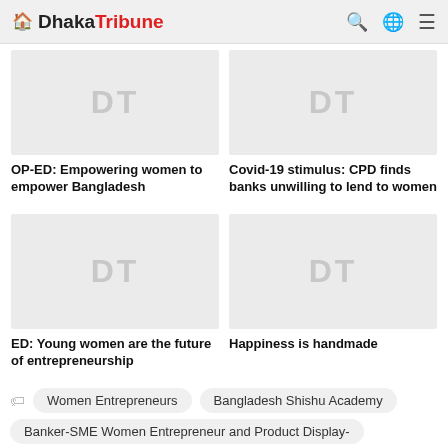Dhaka Tribune
[Figure (photo): Placeholder image with DT watermark for OP-ED article]
OP-ED: Empowering women to empower Bangladesh
[Figure (photo): Placeholder image with DT watermark for Covid-19 article]
Covid-19 stimulus: CPD finds banks unwilling to lend to women
[Figure (photo): Placeholder image with DT watermark for ED article]
ED: Young women are the future of entrepreneurship
[Figure (photo): Placeholder image with DT watermark for Happiness article]
Happiness is handmade
Women Entrepreneurs  Bangladesh Shishu Academy  Banker-SME Women Entrepreneur and Product Display-